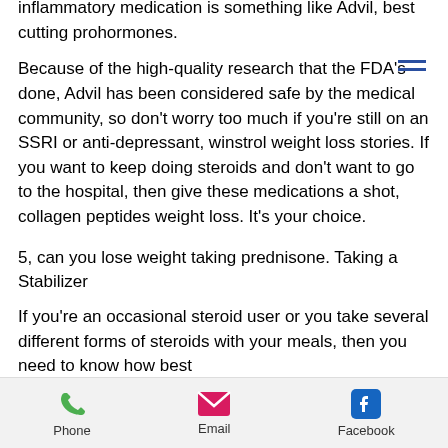inflammatory medication is something like Advil, best cutting prohormones.
Because of the high-quality research that the FDA's done, Advil has been considered safe by the medical community, so don't worry too much if you're still on an SSRI or anti-depressant, winstrol weight loss stories. If you want to keep doing steroids and don't want to go to the hospital, then give these medications a shot, collagen peptides weight loss. It's your choice.
5, can you lose weight taking prednisone. Taking a Stabilizer
If you're an occasional steroid user or you take several different forms of steroids with your meals, then you need to know how best
Phone   Email   Facebook